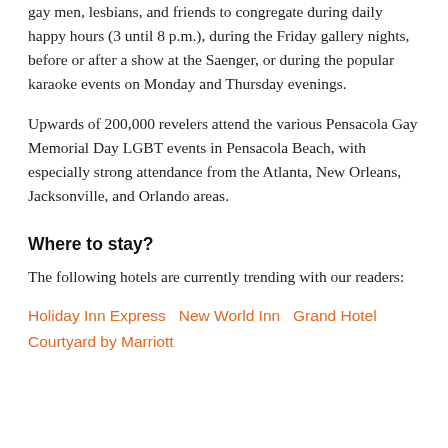gay men, lesbians, and friends to congregate during daily happy hours (3 until 8 p.m.), during the Friday gallery nights, before or after a show at the Saenger, or during the popular karaoke events on Monday and Thursday evenings.
Upwards of 200,000 revelers attend the various Pensacola Gay Memorial Day LGBT events in Pensacola Beach, with especially strong attendance from the Atlanta, New Orleans, Jacksonville, and Orlando areas.
Where to stay?
The following hotels are currently trending with our readers:
Holiday Inn Express   New World Inn   Grand Hotel   Courtyard by Marriott